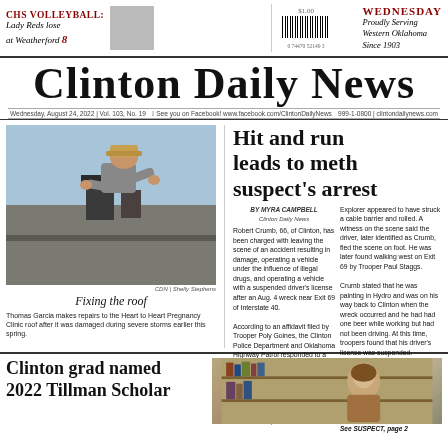CHS VOLLEYBALL | Lady Reds lose at Weatherford 8 | WEDNESDAY | $1.00 | Proudly Serving Western Oklahoma Since 1903
Clinton Daily News
Wednesday, August 24, 2022 | Vol. 103, No. 19 | See you on Facebook! www.facebook.com/ClintonDailyNews | 999-1-0800 | clintondailynews.com
[Figure (photo): Man in cap and gray shirt fixing a roof, leaning over metal rooftop components]
Fixing the roof
Thomas Garcia makes repairs to the Heart to Heart Pregnancy Clinic roof after it was damaged during severe storms earlier this spring.
Hit and run leads to meth suspect's arrest
BY MYRA CAMPBELL
Clinton Daily News

Robert Crumb, 66, of Clinton, has been charged with leaving the scene of an accident resulting in damage, operating a vehicle under the influence of illegal drugs, and operating a vehicle with a suspended driver's license after an Aug. 4 wreck near Exit 69 of Interstate 40.

According to an affidavit filed by Trooper Poly Goines, the Clinton Police Department and Oklahoma Highway Patrol responded to a single-vehicle rollover around 3 p.m. that day on westbound I-40. When the trooper arrived on scene, CPD was searching the area for the driver of the vehicle.

At the scene, a red Ford Explorer appeared to have struck a cable barrier and rolled. A witness on the scene said the driver, later identified as Crumb, fled the scene on foot. He was later found walking west on Exit 69 by Trooper Paul Staggs.

Crumb stated that he was painting in Hydro and was on his way back to Clinton when the wreck occurred and he had had one beer while working but had not been driving. At this time, troopers found that his driver's license was suspended.

Crumb matched the description of the alleged driver of the vehicle and was later positively identified by a witness. The affidavit says Crumb was

See SUSPECT, page 2
Clinton grad named 2022 Tillman Scholar
[Figure (photo): Photo of a woman and books/shelves in background]